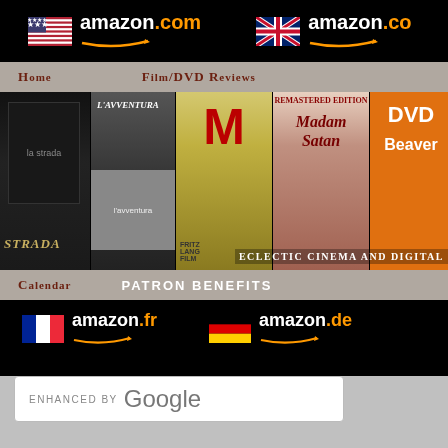[Figure (screenshot): Amazon.com logo with US flag]
[Figure (screenshot): Amazon.co (UK) logo with UK flag (partially visible)]
Home   Film/DVD Reviews
[Figure (screenshot): Film strip banner showing movie covers: La Strada, L'Avventura, M (Fritz Lang), Madam Satan, DVD Beaver logo. Text: Eclectic Cinema and Digital]
Calendar   PATRON BENEFITS
[Figure (screenshot): Amazon.fr logo with French flag and Amazon.de logo with German flag]
[Figure (screenshot): Google search box: ENHANCED BY Google. Search DVDBeav...]
[Figure (screenshot): Blue bottom section with large stylized text QUEEN partially visible]